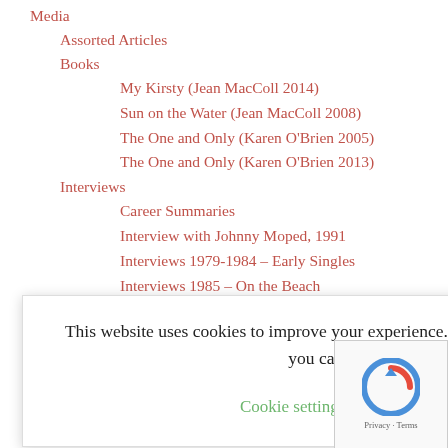Media
Assorted Articles
Books
My Kirsty (Jean MacColl 2014)
Sun on the Water (Jean MacColl 2008)
The One and Only (Karen O'Brien 2005)
The One and Only (Karen O'Brien 2013)
Interviews
Career Summaries
Interview with Johnny Moped, 1991
Interviews 1979-1984 – Early Singles
Interviews 1985 – On the Beach
Interviews 1987-1988 – With the Pogues
Interviews 1989 – Kite
Interviews 1990-1993 – Electric Landlady
Interviews 1994 – Titanic Days
This website uses cookies to improve your experience. We'll assume you're ok with this, but you can opt-out if you wish.
Songs